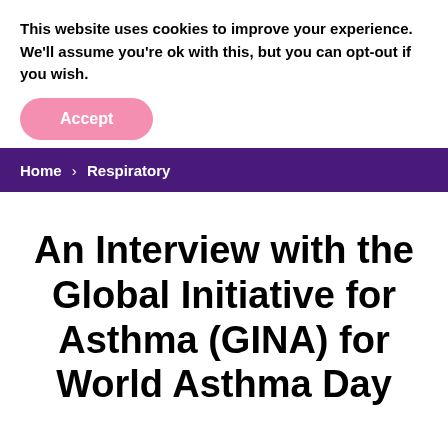This website uses cookies to improve your experience. We'll assume you're ok with this, but you can opt-out if you wish.
Accept
Home > Respiratory
An Interview with the Global Initiative for Asthma (GINA) for World Asthma Day